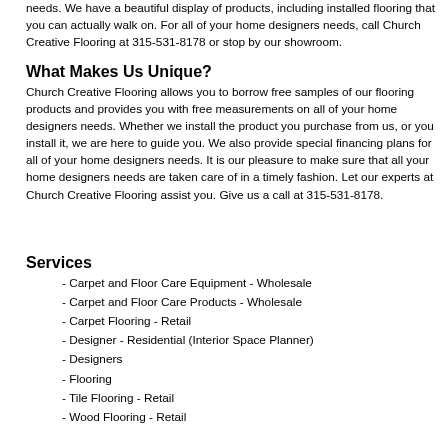needs. We have a beautiful display of products, including installed flooring that you can actually walk on. For all of your home designers needs, call Church Creative Flooring at 315-531-8178 or stop by our showroom.
What Makes Us Unique?
Church Creative Flooring allows you to borrow free samples of our flooring products and provides you with free measurements on all of your home designers needs. Whether we install the product you purchase from us, or you install it, we are here to guide you. We also provide special financing plans for all of your home designers needs. It is our pleasure to make sure that all your home designers needs are taken care of in a timely fashion. Let our experts at Church Creative Flooring assist you. Give us a call at 315-531-8178.
Services
- Carpet and Floor Care Equipment - Wholesale
- Carpet and Floor Care Products - Wholesale
- Carpet Flooring - Retail
- Designer - Residential (Interior Space Planner)
- Designers
- Flooring
- Tile Flooring - Retail
- Wood Flooring - Retail